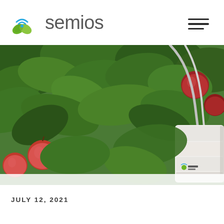[Figure (logo): Semios logo: green leaf icon with blue WiFi signal arc above, and blue dot, alongside the word 'semios' in gray]
[Figure (other): Three horizontal lines (hamburger menu icon) in dark gray, decreasing in width]
[Figure (photo): Outdoor agricultural photo showing red apples hanging on a tree with dark green leaves, and a white Semios IoT sensor device mounted with a metal bracket among the branches. The device has the Semios logo on it.]
JULY 12, 2021